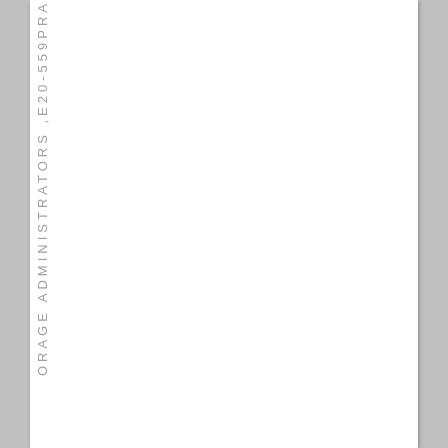ORAGE ADMINISTRATORS ,E20-559PRA